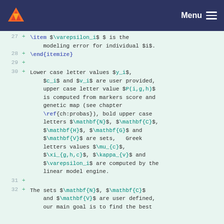Menu
27 + \item $\varepsilon_i$ $ is the modeling error for individual $i$.
28 + \end{itemize}
29 +
30 + Lower case letter values $y_i$, $c_i$ and $v_i$ are user provided, upper case letter value $P(i,g,h)$ is computed from markers score and genetic map (see chapter \ref{ch:probas}), bold upper case letters $\mathbf{N}$, $\mathbf{C}$, $\mathbf{H}$, $\mathbf{G}$ and $\mathbf{V}$ are sets,   Greek letters values $\mu_{c}$, $\xi_{g,h,c}$, $\kappa_{v}$ and $\varepsilon_i$ are computed by the linear model engine.
31 +
32 + The sets $\mathbf{N}$, $\mathbf{C}$ and $\mathbf{V}$ are user defined, our main goal is to find the best